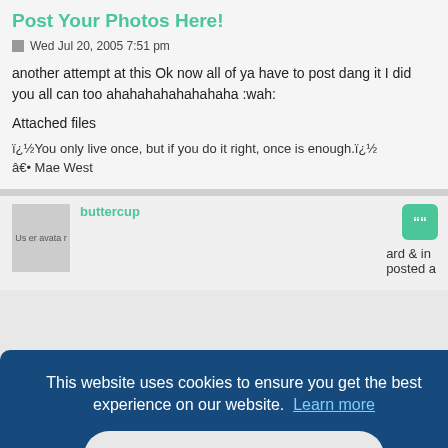Post Your Photos Here!
Wed Jul 20, 2005 7:51 pm
another attempt at this Ok now all of ya have to post dang it I did you all can too ahahahahahahahaha :wah:
Attached files
ï¿½You only live once, but if you do it right, once is enough.ï¿½
â€• Mae West
buttercup
ard & in posted a
This website uses cookies to ensure you get the best experience on our website.  Learn more
Got it!
Attached files